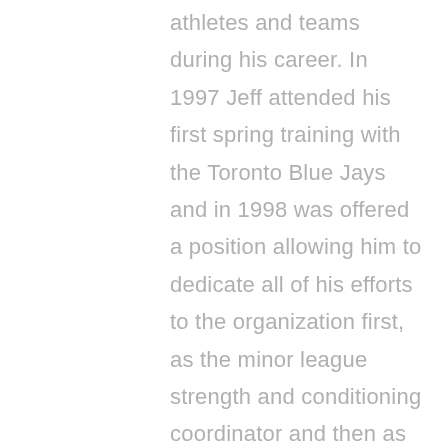athletes and teams during his career. In 1997 Jeff attended his first spring training with the Toronto Blue Jays and in 1998 was offered a position allowing him to dedicate all of his efforts to the organization first, as the minor league strength and conditioning coordinator and then as the head strength and conditioning coach for the entire organization.
In 2003 Jeff stepped down from the Blue Jays, he now consults with Major League Baseball International overseeing the Strength and Development program helping to develop the game worldwide. In this capacity he is involved with baseball performance programs in Canada, South